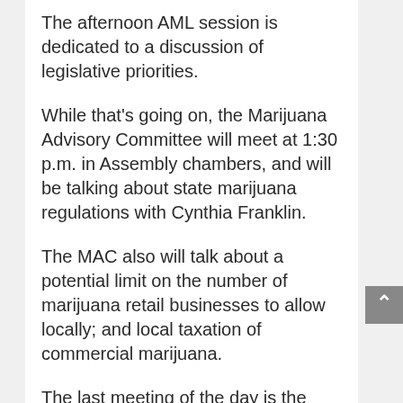The afternoon AML session is dedicated to a discussion of legislative priorities.
While that's going on, the Marijuana Advisory Committee will meet at 1:30 p.m. in Assembly chambers, and will be talking about state marijuana regulations with Cynthia Franklin.
The MAC also will talk about a potential limit on the number of marijuana retail businesses to allow locally; and local taxation of commercial marijuana.
The last meeting of the day is the Ketchikan City Council, starting at 7 p.m. in City Council chambers.
The Council agenda includes a proposal to transfer ownership of the Main Street fire